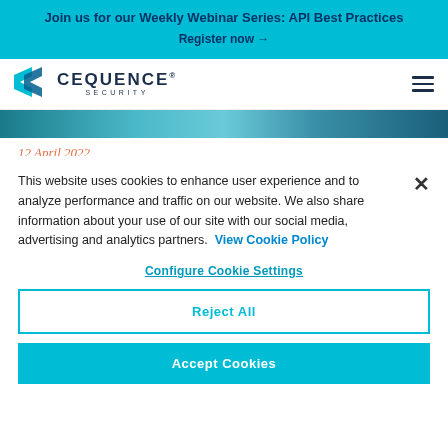Join us for our Weekly Webinar Series: API Best Practices
Register now →
[Figure (logo): Cequence Security logo with teal chevron/arrow mark and dark navy text]
12 April 2022
This website uses cookies to enhance user experience and to analyze performance and traffic on our website. We also share information about your use of our site with our social media, advertising and analytics partners. View Cookie Policy
Configure Cookie Settings
Reject All
Accept Cookies